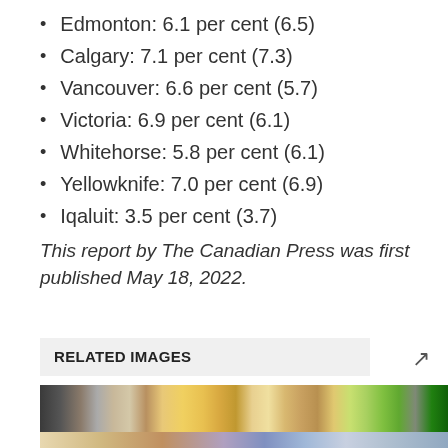Edmonton: 6.1 per cent (6.5)
Calgary: 7.1 per cent (7.3)
Vancouver: 6.6 per cent (5.7)
Victoria: 6.9 per cent (6.1)
Whitehorse: 5.8 per cent (6.1)
Yellowknife: 7.0 per cent (6.9)
Iqaluit: 3.5 per cent (3.7)
This report by The Canadian Press was first published May 18, 2022.
RELATED IMAGES
[Figure (photo): Photo of grocery store produce and packaged goods]